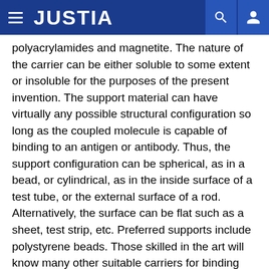JUSTIA
polyacrylamides and magnetite. The nature of the carrier can be either soluble to some extent or insoluble for the purposes of the present invention. The support material can have virtually any possible structural configuration so long as the coupled molecule is capable of binding to an antigen or antibody. Thus, the support configuration can be spherical, as in a bead, or cylindrical, as in the inside surface of a test tube, or the external surface of a rod. Alternatively, the surface can be flat such as a sheet, test strip, etc. Preferred supports include polystyrene beads. Those skilled in the art will know many other suitable carriers for binding antibody or antigen, or will be able to ascertain the same by use of routine experimentation.
One of the ways in which an antibody specific for a protein of interest can be detectably labeled is by linking the...